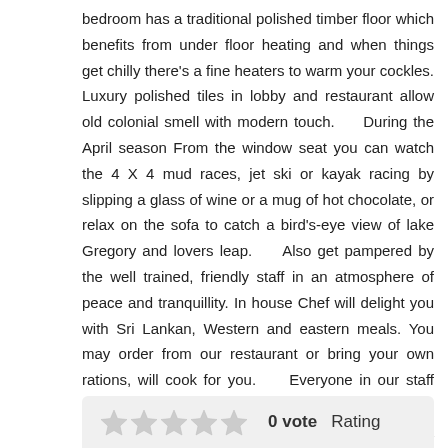bedroom has a traditional polished timber floor which benefits from under floor heating and when things get chilly there's a fine heaters to warm your cockles. Luxury polished tiles in lobby and restaurant allow old colonial smell with modern touch.    During the April season From the window seat you can watch the 4 X 4 mud races, jet ski or kayak racing by slipping a glass of wine or a mug of hot chocolate, or relax on the sofa to catch a bird's-eye view of lake Gregory and lovers leap.    Also get pampered by the well trained, friendly staff in an atmosphere of peace and tranquillity. In house Chef will delight you with Sri Lankan, Western and eastern meals. You may order from our restaurant or bring your own rations, will cook for you.    Everyone in our staff work harder to make your visit to Nuwara Eliya as an unforgettable experience and we guarantee you a memorable holiday with lake view comfort bungalow.
0 vote   Rating